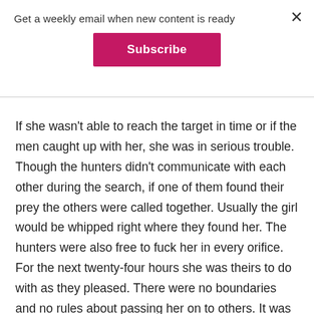Get a weekly email when new content is ready
Subscribe
If she wasn't able to reach the target in time or if the men caught up with her, she was in serious trouble. Though the hunters didn't communicate with each other during the search, if one of them found their prey the others were called together. Usually the girl would be whipped right where they found her. The hunters were also free to fuck her in every orifice. For the next twenty-four hours she was theirs to do with as they pleased. There were no boundaries and no rules about passing her on to others. It was very cruel sport. Alexander considered it barbaric and would not permit any of the O's he mentored to